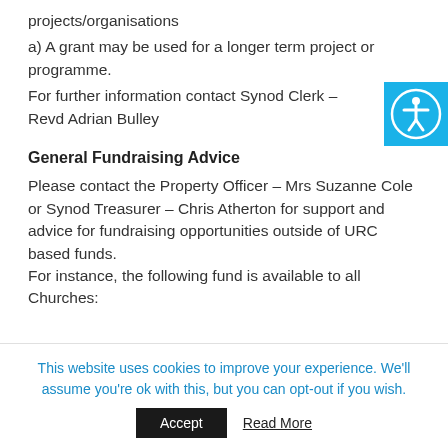projects/organisations
a) A grant may be used for a longer term project or programme.
For further information contact Synod Clerk – Revd Adrian Bulley
[Figure (illustration): Accessibility icon button — blue square with white person/accessibility symbol circle]
General Fundraising Advice
Please contact the Property Officer – Mrs Suzanne Cole or Synod Treasurer – Chris Atherton for support and advice for fundraising opportunities outside of URC based funds. For instance, the following fund is available to all Churches:
This website uses cookies to improve your experience. We'll assume you're ok with this, but you can opt-out if you wish.
Accept   Read More